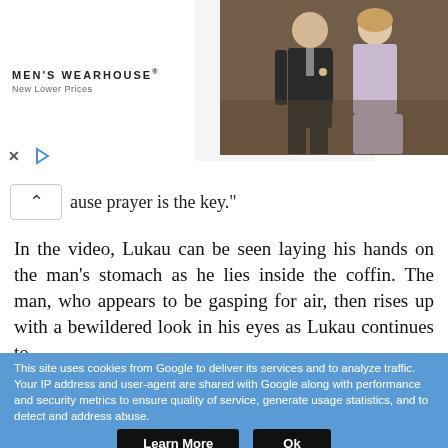[Figure (screenshot): Men's Wearhouse advertisement banner showing a suit for $69.99 and a couple in formal wedding attire. Controls include X and play button at bottom left.]
ause prayer is the key."
In the video, Lukau can be seen laying his hands on the man's stomach as he lies inside the coffin. The man, who appears to be gasping for air, then rises up with a bewildered look in his eyes as Lukau continues to "speak in tongues".
This site uses cookies from Google to deliver its services and to analyze traffic. Your IP address and user-agent are shared with Google along with performance and security metrics to ensure quality of service, generate usage statistics, and to detect and address abuse.